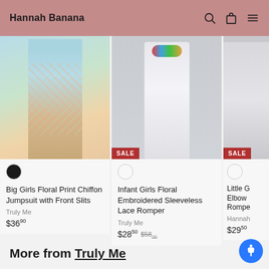Hannah Banana
[Figure (photo): Big Girls Floral Print Chiffon Jumpsuit with Front Slits product photo showing model wearing floral wide-leg pants with slits]
Big Girls Floral Print Chiffon Jumpsuit with Front Slits
Truly Me
$36.90
[Figure (photo): Infant Girls Floral Embroidered Sleeveless Lace Romper product photo showing model wearing white lace romper with colorful floral embroidered neckline. SALE badge visible.]
Infant Girls Floral Embroidered Sleeveless Lace Romper
Truly Me
$28.50  $58.00
[Figure (photo): Little G... Elbow... Rompe... partial product photo with SALE badge]
Little G Elbow Rompe
Hannah
$29.50
More from Truly Me